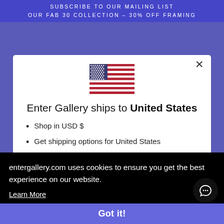SUBSCRIBE TO OUR MAILING LIST
OUR FAB 30 COLLECTION – 30% OFF FRAMING
[Figure (illustration): US flag icon displayed in center of modal dialog]
Enter Gallery ships to United States
Shop in USD $
Get shipping options for United States
entergallery.com uses cookies to ensure you get the best experience on our website. Learn More
Got it!
Publications Ltd is a credit broker and is Authorised and Regulated